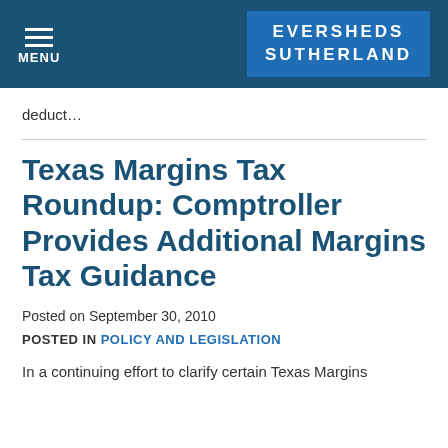MENU | EVERSHEDS SUTHERLAND
deduct…
Texas Margins Tax Roundup: Comptroller Provides Additional Margins Tax Guidance
Posted on September 30, 2010
POSTED IN POLICY AND LEGISLATION
In a continuing effort to clarify certain Texas Margins